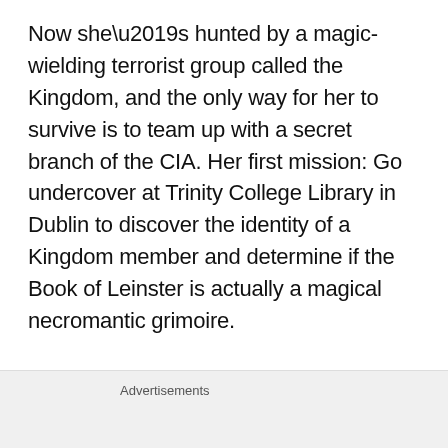Now she’s hunted by a magic-wielding terrorist group called the Kingdom, and the only way for her to survive is to team up with a secret branch of the CIA. Her first mission: Go undercover at Trinity College Library in Dublin to discover the identity of a Kingdom member and determine if the Book of Leinster is actually a magical necromantic grimoire.

With the help of a handsome Irish kickboxer, Jayne uncovers the truth of her unexpected spell book: The Irish manuscript is one of five
Advertisements